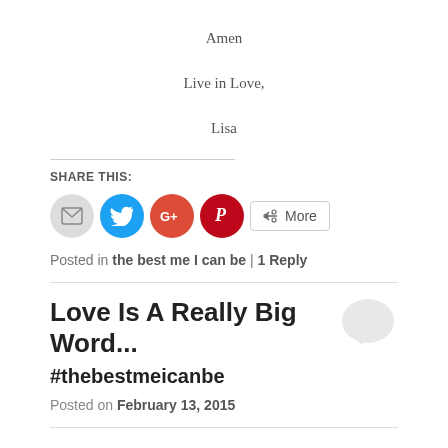Amen
Live in Love,
Lisa
SHARE THIS:
[Figure (other): Social share buttons: email, Twitter, Google+, Pinterest, and More]
Posted in the best me I can be | 1 Reply
Love Is A Really Big Word... #thebestmeicanbe
Posted on February 13, 2015